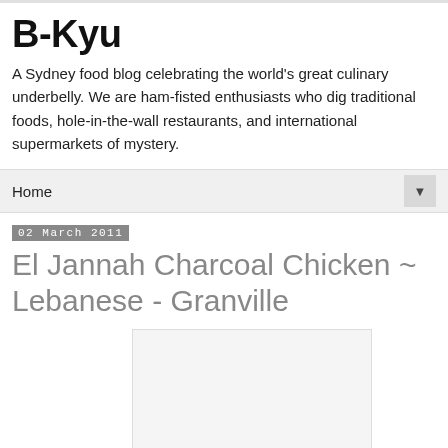B-Kyu
A Sydney food blog celebrating the world's great culinary underbelly. We are ham-fisted enthusiasts who dig traditional foods, hole-in-the-wall restaurants, and international supermarkets of mystery.
Home
02 March 2011
El Jannah Charcoal Chicken ~ Lebanese - Granville
[Figure (photo): Placeholder image for El Jannah Charcoal Chicken post]